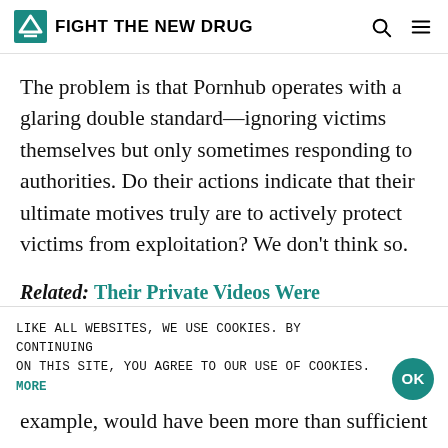FIGHT THE NEW DRUG
The problem is that Pornhub operates with a glaring double standard—ignoring victims themselves but only sometimes responding to authorities. Do their actions indicate that their ultimate motives truly are to actively protect victims from exploitation? We don't think so.
Related: Their Private Videos Were Nonconsensually Uploaded To Pornhub, And Now These Women Are Fighting Back
LIKE ALL WEBSITES, WE USE COOKIES. BY CONTINUING ON THIS SITE, YOU AGREE TO OUR USE OF COOKIES. MORE
example, would have been more than sufficient